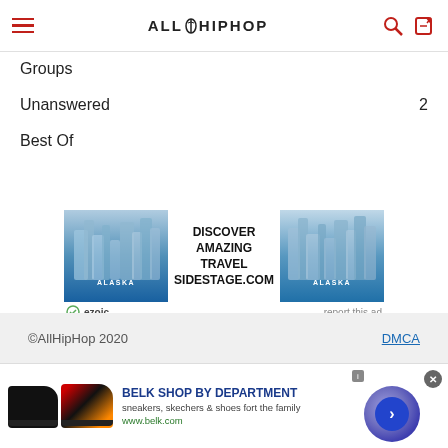AllHipHop
Groups
Unanswered 2
Best Of
[Figure (other): Travel advertisement banner: DISCOVER AMAZING TRAVEL SIDESTAGE.COM with Alaska glacier images on left and right, ezoic badge below left, report this ad below right]
©AllHipHop 2020  DMCA
[Figure (other): Belk shop advertisement: BELK SHOP BY DEPARTMENT, sneakers, skechers & shoes fort the family, www.belk.com, with shoe images and navigation arrow]